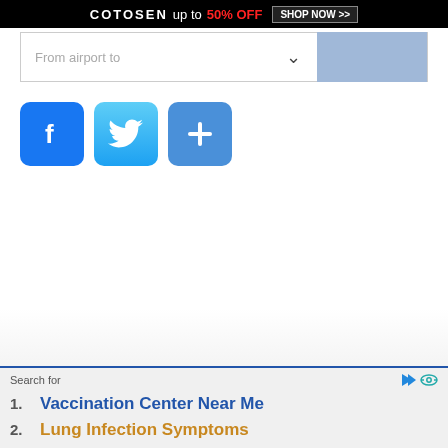[Figure (infographic): COTOSEN advertisement banner: 'COTOSEN up to 50% OFF SHOP NOW >>']
[Figure (screenshot): Dropdown/form input row with chevron and blue button]
[Figure (infographic): Social sharing icons: Facebook (f), Twitter bird, and share (+) buttons]
Search for
1. Vaccination Center Near Me
2. Lung Infection Symptoms